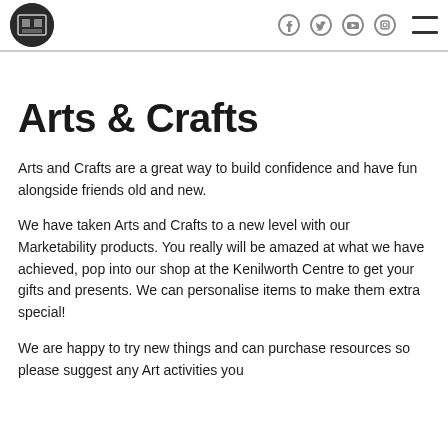[Logo] [Social icons: Facebook, Twitter, YouTube, Instagram] [Hamburger menu]
Arts & Crafts
Arts and Crafts are a great way to build confidence and have fun alongside friends old and new.
We have taken Arts and Crafts to a new level with our Marketability products. You really will be amazed at what we have achieved, pop into our shop at the Kenilworth Centre to get your gifts and presents. We can personalise items to make them extra special!
We are happy to try new things and can purchase resources so please suggest any Art activities you